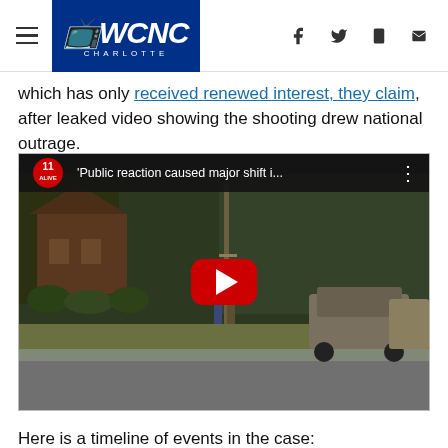WCNC CHARLOTTE
which has only received renewed interest, they claim, after leaked video showing the shooting drew national outrage.
[Figure (screenshot): Embedded video player showing '11 ALIVE' logo with title 'Public reaction caused major shift i...' and a YouTube-style play button overlaid on a street scene with a car and residential yard]
Here is a timeline of events in the case: